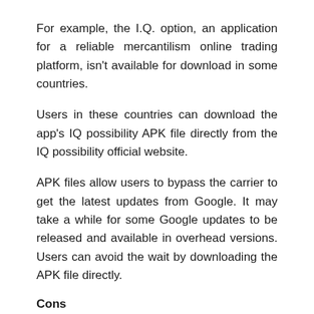For example, the I.Q. option, an application for a reliable mercantilism online trading platform, isn't available for download in some countries.
Users in these countries can download the app's IQ possibility APK file directly from the IQ possibility official website.
APK files allow users to bypass the carrier to get the latest updates from Google. It may take a while for some Google updates to be released and available in overhead versions. Users can avoid the wait by downloading the APK file directly.
Cons